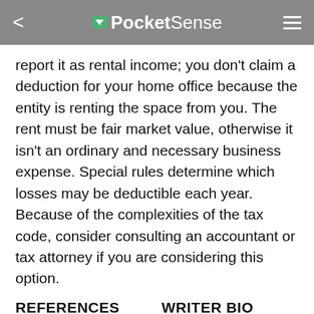PocketSense
report it as rental income; you don't claim a deduction for your home office because the entity is renting the space from you. The rent must be fair market value, otherwise it isn't an ordinary and necessary business expense. Special rules determine which losses may be deductible each year. Because of the complexities of the tax code, consider consulting an accountant or tax attorney if you are considering this option.
REFERENCES
WRITER BIO